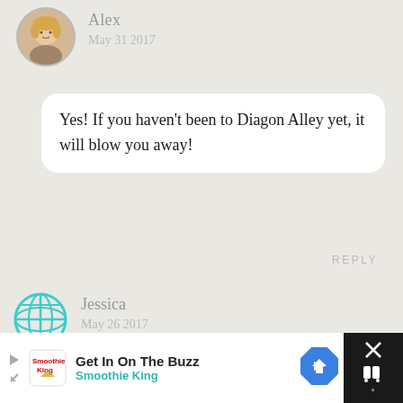[Figure (photo): Circular avatar photo of Alex, a blonde woman]
Alex
May 31 2017
Yes! If you haven't been to Diagon Alley yet, it will blow you away!
REPLY
[Figure (illustration): Globe/world icon in teal color used as avatar for Jessica]
Jessica
May 26 2017
Aw! This is awesome Alex!! Thank you 🙂
REPLY
[Figure (screenshot): Advertisement bar: Get In On The Buzz - Smoothie King with play button, logo, arrow icon and close X button]